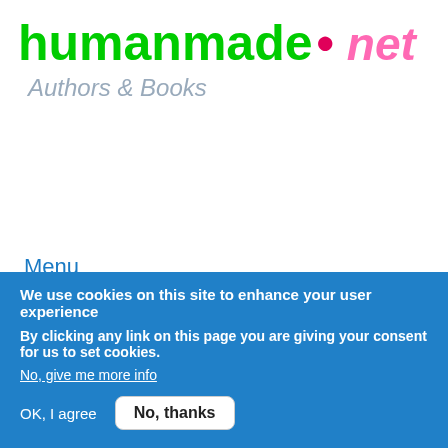[Figure (logo): humanmade.net Authors & Books logo with green 'humanmade', pink dot, pink italic '.net', and grey italic 'Authors & Books' subtitle]
[Figure (other): Search button - circular grey button with magnifying glass icon]
Menu
Home > Books > Fiction > Children
Winkie the Cat with a Heart
We use cookies on this site to enhance your user experience
By clicking any link on this page you are giving your consent for us to set cookies.
No, give me more info
OK, I agree
No, thanks